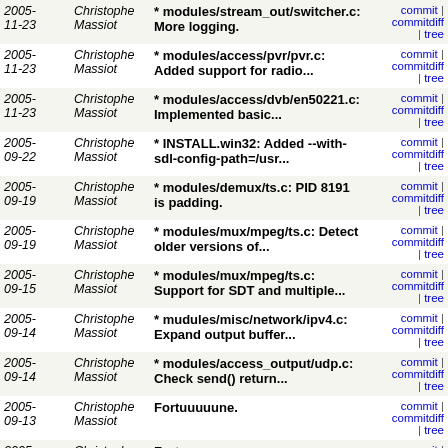| Date | Author | Description | Links |
| --- | --- | --- | --- |
| 2005-11-23 | Christophe Massiot | * modules/stream_out/switcher.c: More logging. | commit | commitdiff | tree |
| 2005-11-23 | Christophe Massiot | * modules/access/pvr/pvr.c: Added support for radio... | commit | commitdiff | tree |
| 2005-11-23 | Christophe Massiot | * modules/access/dvb/en50221.c: Implemented basic... | commit | commitdiff | tree |
| 2005-09-22 | Christophe Massiot | * INSTALL.win32: Added --with-sdl-config-path=/usr... | commit | commitdiff | tree |
| 2005-09-19 | Christophe Massiot | * modules/demux/ts.c: PID 8191 is padding. | commit | commitdiff | tree |
| 2005-09-19 | Christophe Massiot | * modules/mux/mpeg/ts.c: Detect older versions of... | commit | commitdiff | tree |
| 2005-09-15 | Christophe Massiot | * modules/mux/mpeg/ts.c: Support for SDT and multiple... | commit | commitdiff | tree |
| 2005-09-14 | Christophe Massiot | * mudules/misc/network/ipv4.c: Expand output buffer... | commit | commitdiff | tree |
| 2005-09-14 | Christophe Massiot | * modules/access_output/udp.c: Check send() return... | commit | commitdiff | tree |
| 2005-09-13 | Christophe Massiot | Fortuuuuune. | commit | commitdiff | tree |
| 2005-09-13 | Christophe Massiot | Fortuuuuune. | commit | commitdiff | tree |
| 2005-09-13 | Christophe Massiot | Fortuuuuune | commit | commitdiff | tree |
| 2005-09-11 | Christophe Massiot | fortuuuuune | commit | commitdiff | tree |